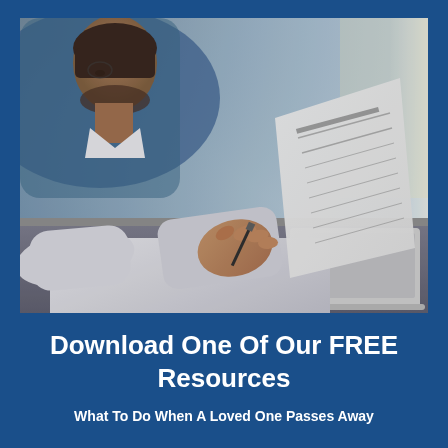[Figure (photo): A person in a white shirt holding and reviewing a document with a pen, seated at a desk with a laptop partially visible in the background. The image has a blue-tinted professional office setting.]
Download One Of Our FREE Resources
What To Do When A Loved One Passes Away